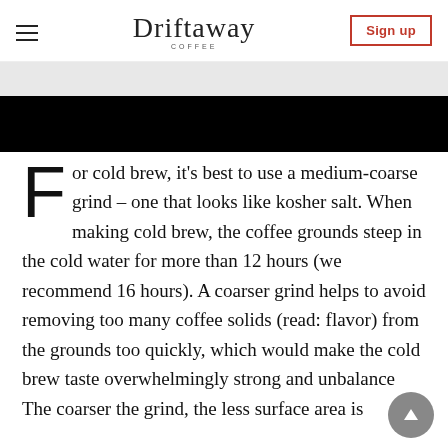Driftaway Coffee — Sign up
[Figure (photo): Top portion of an image fading to a black banner strip across the full width]
For cold brew, it's best to use a medium-coarse grind – one that looks like kosher salt. When making cold brew, the coffee grounds steep in the cold water for more than 12 hours (we recommend 16 hours). A coarser grind helps to avoid removing too many coffee solids (read: flavor) from the grounds too quickly, which would make the cold brew taste overwhelmingly strong and unbalanced. The coarser the grind, the less surface area is